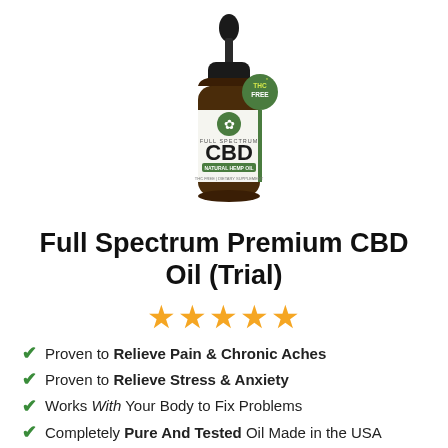[Figure (photo): A brown glass dropper bottle with a black dropper cap, labeled 'Full Spectrum CBD' with a green hemp leaf logo and a green 'THC FREE' badge on the bottle.]
Full Spectrum Premium CBD Oil (Trial)
[Figure (other): Five gold/orange star rating icons]
Proven to Relieve Pain & Chronic Aches
Proven to Relieve Stress & Anxiety
Works With Your Body to Fix Problems
Completely Pure And Tested Oil Made in the USA